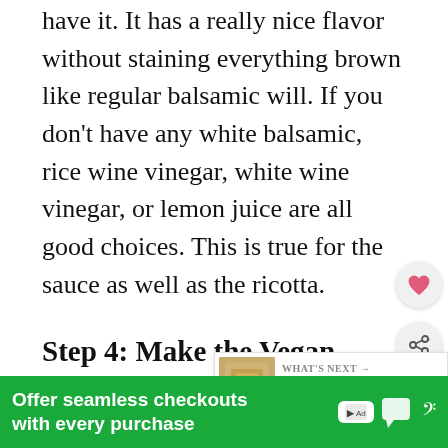have it. It has a really nice flavor without staining everything brown like regular balsamic will. If you don't have any white balsamic, rice wine vinegar, white wine vinegar, or lemon juice are all good choices. This is true for the sauce as well as the ricotta.
Step 4: Make the Vegan Ricotta & Stuff the Pasta Shells
When making the ricotta, break up the tofu and other ingredients in the food processor and pulse only until it looks blended but pieces of each ingredient are still recognizable. We're loo... ...te.
[Figure (other): WHAT'S NEXT panel with food image thumbnail and text 'Vegan Pumpkin Ca...']
[Figure (other): Green advertisement banner: 'Offer seamless checkouts with every purchase' with ad badge and mute icon]